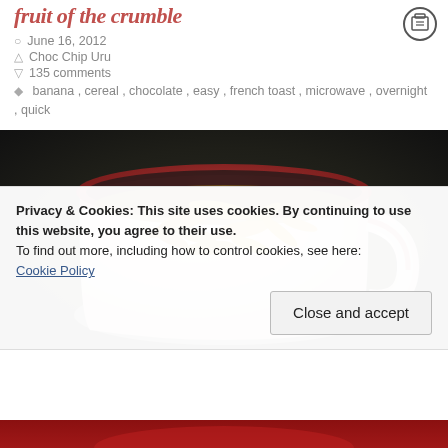fruit of the crumble
June 16, 2012
Choc Chip Uru
135 comments
banana, cereal, chocolate, easy, french toast, microwave, overnight, quick
[Figure (photo): Photo of a red and white ceramic mug filled with golden cereal flakes, viewed from above on a dark surface]
Privacy & Cookies: This site uses cookies. By continuing to use this website, you agree to their use.
To find out more, including how to control cookies, see here:
Cookie Policy
Close and accept